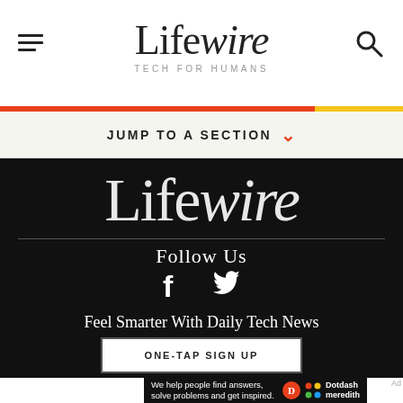Lifewire TECH FOR HUMANS
JUMP TO A SECTION
[Figure (logo): Lifewire logo large white text on black background]
Follow Us
[Figure (illustration): Facebook and Twitter social icons in white]
Feel Smarter With Daily Tech News
ONE-TAP SIGN UP
We help people find answers, solve problems and get inspired. Dotdash meredith